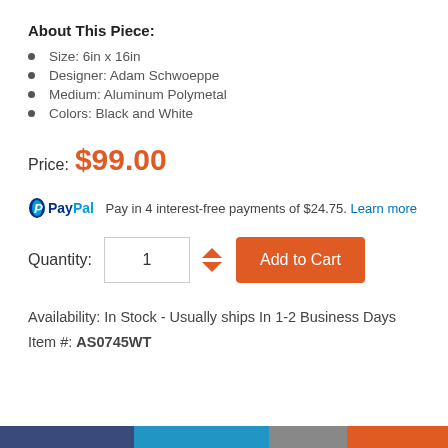About This Piece:
Size: 6in x 16in
Designer: Adam Schwoeppe
Medium: Aluminum Polymetal
Colors: Black and White
Price: $99.00
Pay in 4 interest-free payments of $24.75. Learn more
Quantity: 1  Add to Cart
Availability: In Stock - Usually ships In 1-2 Business Days
Item #: AS0745WT